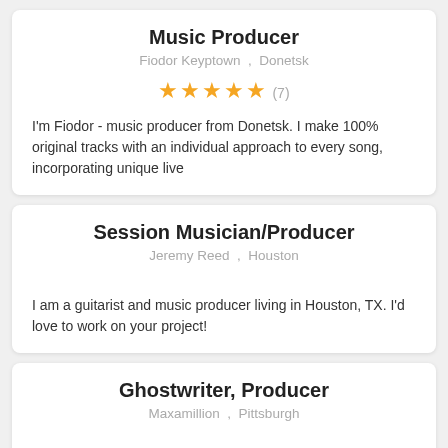Music Producer
Fiodor Keyptown , Donetsk
★★★★★ (7)
I'm Fiodor - music producer from Donetsk. I make 100% original tracks with an individual approach to every song, incorporating unique live
Session Musician/Producer
Jeremy Reed , Houston
I am a guitarist and music producer living in Houston, TX. I'd love to work on your project!
Ghostwriter, Producer
Maxamillion , Pittsburgh
I'm your guy if you need a "hook" or lyrics for your next hit!!! #1 Billboard